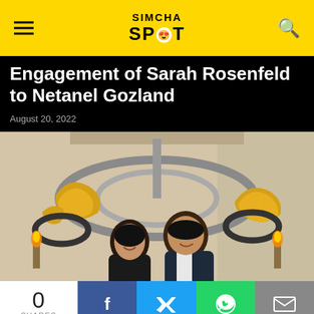SIMCHA SPOT
Engagement of Sarah Rosenfeld to Netanel Gozland
August 20, 2022
[Figure (photo): A couple posing together smiling under a large ornate chandelier with metallic rings and gold decorative elements, in a restaurant or event venue setting with brick walls and warm lighting.]
0 SHARES